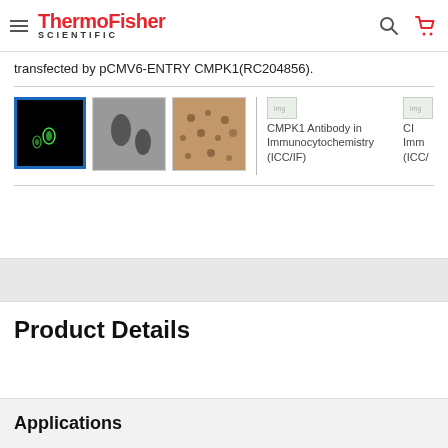ThermoFisher SCIENTIFIC
transfected by pCMV6-ENTRY CMPK1(RC204856).
[Figure (photo): Thumbnail images including: selected dark field fluorescence microscopy image (black background with green dots), black and white microscopy image, tissue staining image, and partially visible CMPK1 Antibody in Immunocytochemistry (ICC/IF) images]
Product Details
Applications